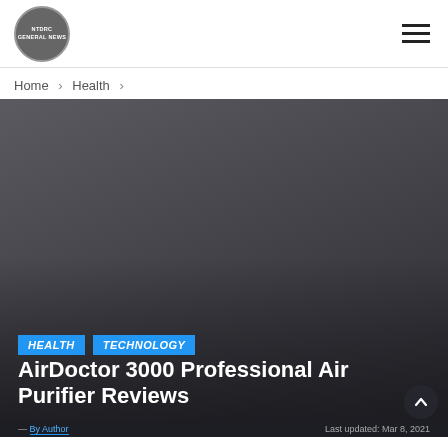NTDRC GENERAL NEWS [logo] | hamburger menu
Home > Health >
[Figure (photo): Dark grey hero image background for article about AirDoctor 3000 Professional Air Purifier Reviews, with HEALTH and TECHNOLOGY category tags in blue and the article title in large white bold text at the bottom.]
AirDoctor 3000 Professional Air Purifier Reviews